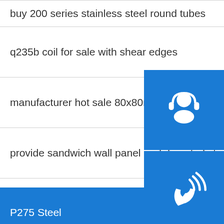buy 200 series stainless steel round tubes
q235b coil for sale with shear edges
manufacturer hot sale 80x80mm square steel pipe
provide sandwich wall panel prefabricated steel
P275 Steel
china die forging s355jr steel cylinder bushing
welded stainless pipe 201 301 of china supplier
42crmo4 s n curve spot
buy astm a131 fq47 in china
[Figure (infographic): Three blue square icon buttons on the right side: customer service headset icon, phone/call icon, and Skype icon]